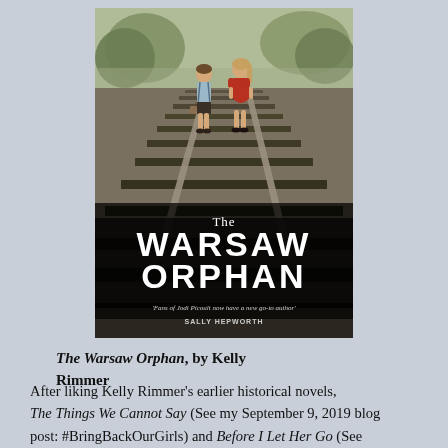[Figure (photo): Book cover of 'The Warsaw Orphan' by Kelly Rimmer. Shows two children walking away along railway tracks — a boy in a light blue shirt and dark shorts on the left, and a girl in a red dress on the right. Trees and a muted sky are visible in the background. The title 'The Warsaw Orphan' is displayed in large white letters at the bottom of the image, with 'The' in a smaller serif font above 'WARSAW ORPHAN' in bold sans-serif capitals. A blurb reading 'Fans of Jodi Picoult now have a new go-to author' attributed to SALLY HEPWORTH appears at the very bottom of the cover.]
The Warsaw Orphan, by Kelly Rimmer
After liking Kelly Rimmer's earlier historical novels, The Things We Cannot Say (See my September 9, 2019 blog post: #BringBackOurGirls) and Before I Let Her Go (See